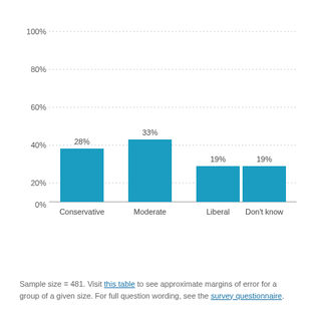[Figure (bar-chart): ]
Sample size = 481. Visit this table to see approximate margins of error for a group of a given size. For full question wording, see the survey questionnaire.